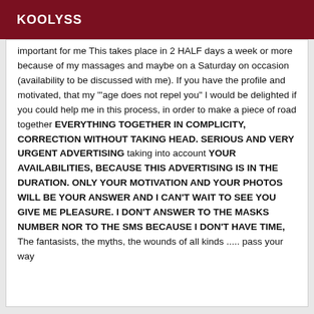KOOLYSS
important for me This takes place in 2 HALF days a week or more because of my massages and maybe on a Saturday on occasion (availability to be discussed with me). If you have the profile and motivated, that my "'age does not repel you" I would be delighted if you could help me in this process, in order to make a piece of road together EVERYTHING TOGETHER IN COMPLICITY, CORRECTION WITHOUT TAKING HEAD. SERIOUS AND VERY URGENT ADVERTISING taking into account YOUR AVAILABILITIES, BECAUSE THIS ADVERTISING IS IN THE DURATION. ONLY YOUR MOTIVATION AND YOUR PHOTOS WILL BE YOUR ANSWER AND I CAN'T WAIT TO SEE YOU GIVE ME PLEASURE. I DON'T ANSWER TO THE MASKS NUMBER NOR TO THE SMS BECAUSE I DON'T HAVE TIME, The fantasists, the myths, the wounds of all kinds ..... pass your way